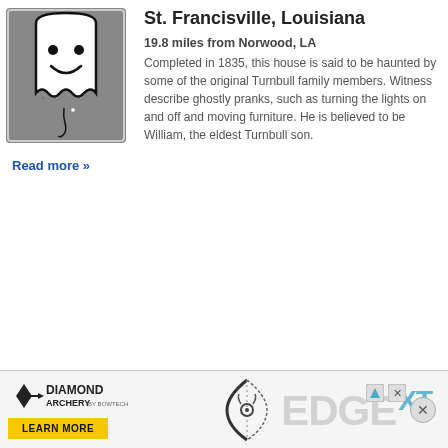[Figure (illustration): Ghost icon illustration — a white cartoon ghost with a smiling face on a grey square background with a rounded rectangle border]
St. Francisville, Louisiana
19.8 miles from Norwood, LA
Completed in 1835, this house is said to be haunted by some of the original Turnbull family members. Witness describe ghostly pranks, such as turning the lights on and off and moving furniture. He is believed to be William, the eldest Turnbull son.
Read more »
[Figure (photo): Advertisement banner for Diamond Archery EDGE XT bow — shows Diamond Archery logo, bow image, EDGE XT text in grey, Learn More button in yellow, with close X button and ad options icon]